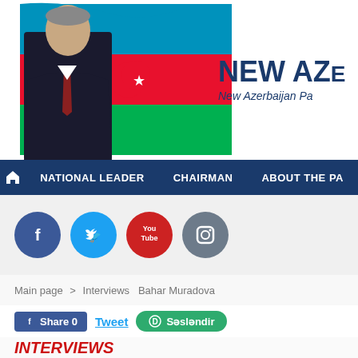[Figure (photo): Website header banner showing a man in a dark suit with red tie standing in front of the Azerbaijan flag (blue, red, green horizontal stripes with crescent and star). The right side shows the site title 'NEW AZ' and subtitle 'New Azerbaijan Pa'.]
NEW AZ | New Azerbaijan Pa
[Figure (screenshot): Navigation bar with dark blue background showing home icon, NATIONAL LEADER, CHAIRMAN, ABOUT THE PA menu items]
[Figure (screenshot): Social media icons bar with Facebook, Twitter, YouTube, Instagram circular icons and OUR MEMBERS label on the right]
Main page > Interviews  Bahar Muradova
[Figure (screenshot): Share buttons row: Facebook Share 0 button, Tweet link, and green Səsləndir button]
INTERVIEWS